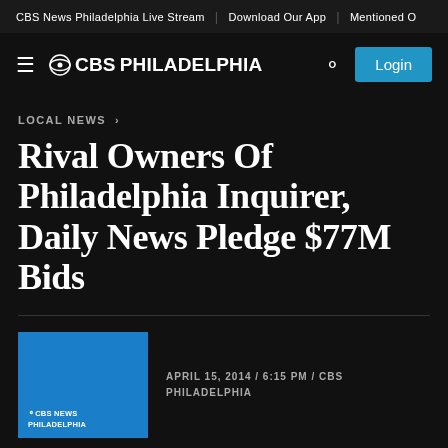CBS News Philadelphia Live Stream | Download Our App | Mentioned O
[Figure (logo): CBS Philadelphia logo with hamburger menu icon, CBS eye logo, and PHILADELPHIA text, plus search icon and Login button]
LOCAL NEWS >
Rival Owners Of Philadelphia Inquirer, Daily News Pledge $77M Bids
APRIL 15, 2014 / 6:15 PM / CBS PHILADELPHIA
By Steve Tawa